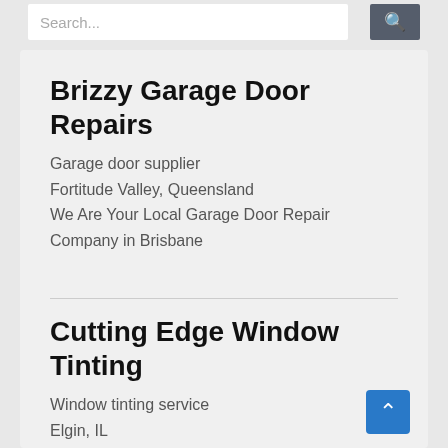[Figure (screenshot): Search bar with text input and dark search button with magnifying glass icon]
Brizzy Garage Door Repairs
Garage door supplier
Fortitude Valley, Queensland
We Are Your Local Garage Door Repair Company in Brisbane
Cutting Edge Window Tinting
Window tinting service
Elgin, IL
Providing Superior Residential, Commercial, and Car Window Tinting in Illinois